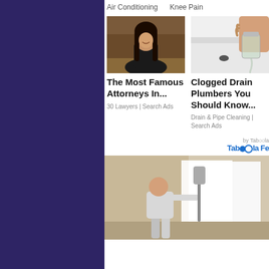[Figure (screenshot): Dark purple/navy left sidebar panel]
Air Conditioning
Knee Pain
[Figure (photo): Photo of a woman with long dark hair smiling, wearing dark blazer]
[Figure (photo): Photo of hands with a jar near a sink/drain]
The Most Famous Attorneys In...
Clogged Drain Plumbers You Should Know...
30 Lawyers | Search Ads
Drain & Pipe Cleaning | Search Ads
by Taboola
[Figure (photo): Photo of a man painting a wall with a roller, seen from behind]